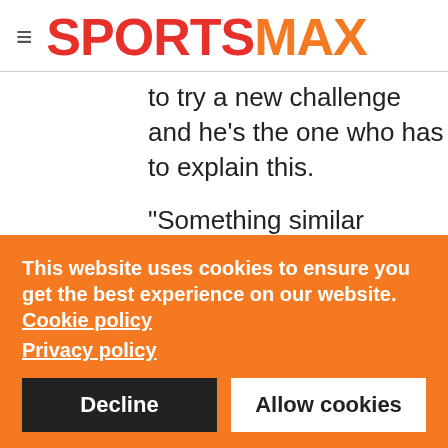SPORTSMAX
to try a new challenge and he's the one who has to explain this.
"Something similar happened when I was Milan's coach. I was feeling really good but I wanted
This website uses cookies to ensure you get the best experience on our website. Cookie policy
Privacy policy
Decline  Allow cookies